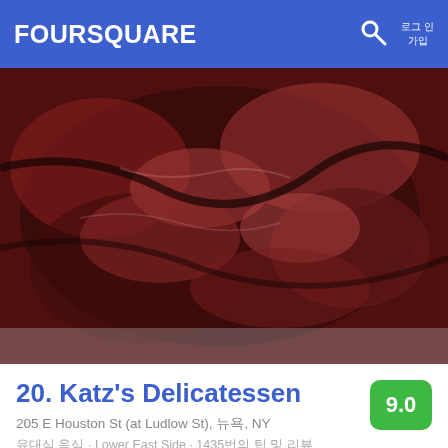FOURSQUARE
[Figure (photo): Close-up photo of sliced smoked brisket/pastrami meat, dark charred exterior with red interior, on a white surface]
20. Katz's Delicatessen
205 E Houston St (at Ludlow St), 뉴욕, NY
유대식 음식 · Lower East Side · 1435번의 팁 및 리뷰
[Figure (photo): Photo of a sesame seed sandwich/sub with green arugula lettuce and yellow cheese on brown paper, next to an iced drink on a wooden table]